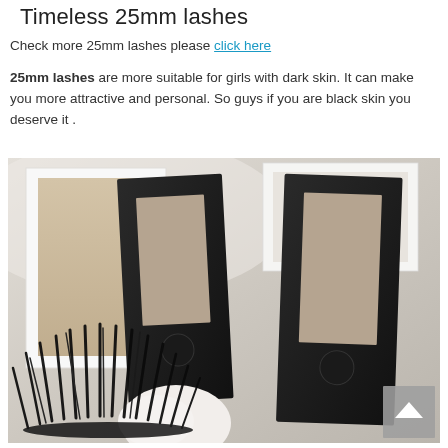Timeless 25mm lashes
Check more 25mm lashes please click here
25mm lashes are more suitable for girls with dark skin. It can make you more attractive and personal. So guys if you are black skin you deserve it .
[Figure (photo): Product photo showing two black lash packaging boxes with rectangular windows and magnetic closures, white boxes, and dramatic 25mm mink lashes in the foreground on a white fluffy background. A gray scroll-to-top button is visible in the bottom right corner.]